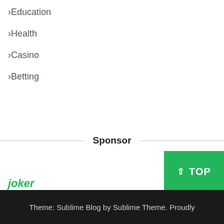> Education
> Health
> Casino
> Betting
Sponsor
joker
Theme: Sublime Blog by Sublime Theme. Proudly